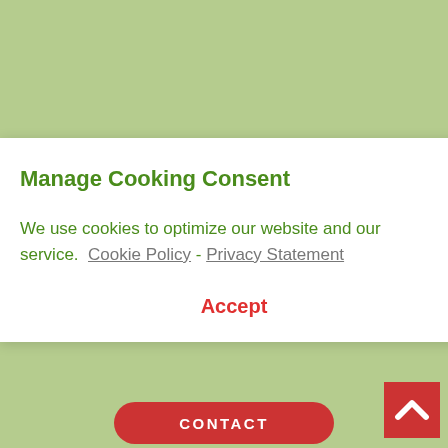Manage Cooking Consent
We use cookies to optimize our website and our service.  Cookie Policy -  Privacy Statement
Accept
More Questions?
No problem, drop us a line.
CONTACT